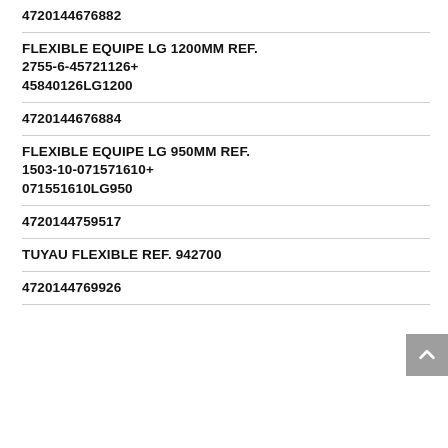4720144676882
FLEXIBLE EQUIPE LG 1200MM REF. 2755-6-45721126+ 45840126LG1200
4720144676884
FLEXIBLE EQUIPE LG 950MM REF. 1503-10-071571610+ 071551610LG950
4720144759517
TUYAU FLEXIBLE REF. 942700
4720144769926